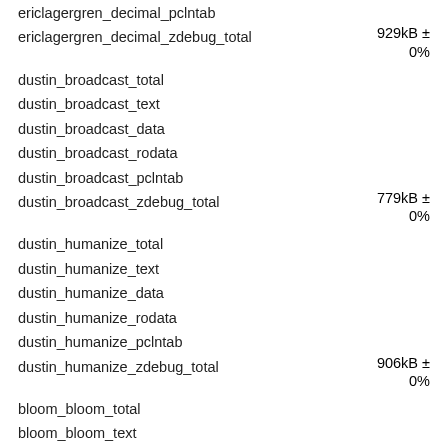| Benchmark | Size |
| --- | --- |
| ericlagergren_decimal_pclntab |  |
| ericlagergren_decimal_zdebug_total | 929kB ± 0% |
| dustin_broadcast_total |  |
| dustin_broadcast_text |  |
| dustin_broadcast_data |  |
| dustin_broadcast_rodata |  |
| dustin_broadcast_pclntab |  |
| dustin_broadcast_zdebug_total | 779kB ± 0% |
| dustin_humanize_total |  |
| dustin_humanize_text |  |
| dustin_humanize_data |  |
| dustin_humanize_rodata |  |
| dustin_humanize_pclntab |  |
| dustin_humanize_zdebug_total | 906kB ± 0% |
| bloom_bloom_total |  |
| bloom_bloom_text |  |
| bloom_bloom_data |  |
| bloom_bloom_rodata |  |
| bloom_bloom_pclntab |  |
| bloom_bloom_zdebug_total | 993kB ± |